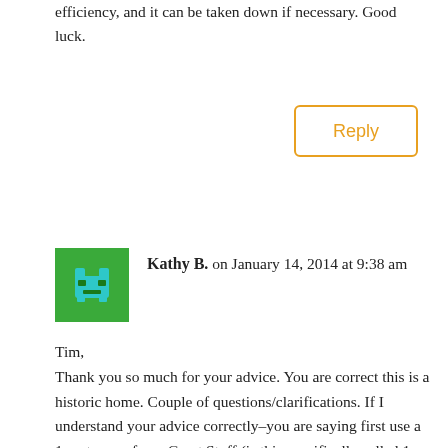efficiency, and it can be taken down if necessary. Good luck.
Reply
Kathy B. on January 14, 2014 at 9:38 am
Tim,
Thank you so much for your advice. You are correct this is a historic home. Couple of questions/clarifications. If I understand your advice correctly–you are saying first use a 1 part spray foam Great Stuff (is this specifically called 1 part?) around all wiring, plumbing, any cracks. Since the house is in a flood zone you aren't recommending spraying closed cell foam insulation between the